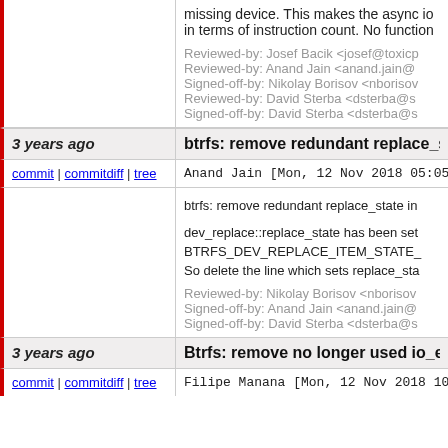missing device. This makes the async io
in terms of instruction count. No function
Reviewed-by: Josef Bacik <josef@toxicp
Reviewed-by: Anand Jain <anand.jain@
Signed-off-by: Nikolay Borisov <nborisov
Reviewed-by: David Sterba <dsterba@s
Signed-off-by: David Sterba <dsterba@s
3 years ago
btrfs: remove redundant replace_state
commit | commitdiff | tree
Anand Jain [Mon, 12 Nov 2018 05:05:15
btrfs: remove redundant replace_state in
dev_replace::replace_state has been set
BTRFS_DEV_REPLACE_ITEM_STATE_
So delete the line which sets replace_sta
Reviewed-by: Nikolay Borisov <nborisov
Signed-off-by: Anand Jain <anand.jain@
Signed-off-by: David Sterba <dsterba@s
3 years ago
Btrfs: remove no longer used io_err fr
commit | commitdiff | tree
Filipe Manana [Mon, 12 Nov 2018 10:24